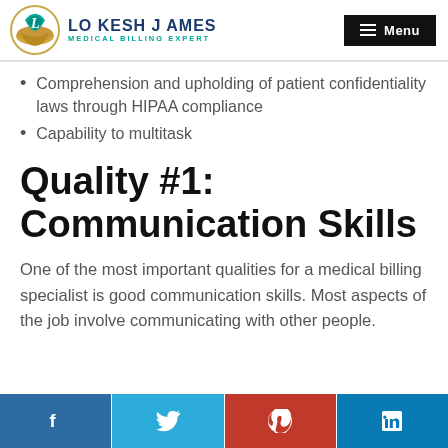LO KESH JAMES MEDICAL BILLING EXPERT | Menu
Comprehension and upholding of patient confidentiality laws through HIPAA compliance
Capability to multitask
Quality #1: Communication Skills
One of the most important qualities for a medical billing specialist is good communication skills. Most aspects of the job involve communicating with other people.
f | Twitter | Pinterest | in